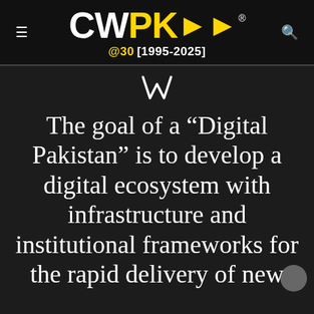CWPK>> @30 [1995-2025]
[Figure (logo): W letter icon in white outline style]
The goal of a “Digital Pakistan” is to develop a digital ecosystem with infrastructure and institutional frameworks for the rapid delivery of new